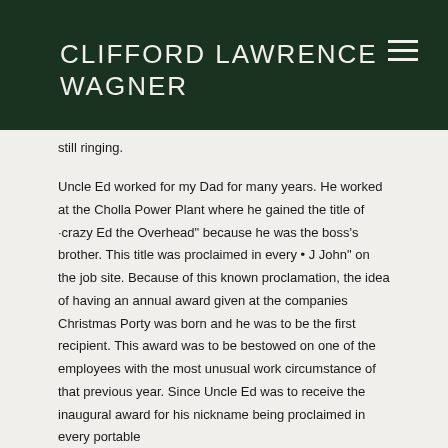CLIFFORD LAWRENCE WAGNER
still ringing.
Uncle Ed worked for my Dad for many years. He worked at the Cholla Power Plant where he gained the title of ·crazy Ed the Overhead" because he was the boss's brother. This title was proclaimed in every • J John" on the job site. Because of this known proclamation, the idea of having an annual award given at the companies Christmas Porty was born and he was to be the first recipient. This award was to be bestowed on one of the employees with the most unusual work circumstance of that previous year. Since Uncle Ed was to receive the inaugural award for his nickname being proclaimed in every portable